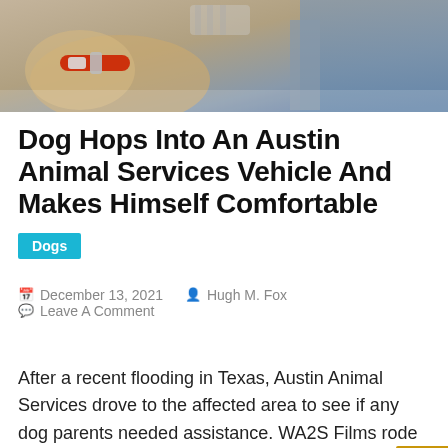[Figure (photo): Top banner photo showing a dog with a red collar being held by a person in a gray shirt]
Dog Hops Into An Austin Animal Services Vehicle And Makes Himself Comfortable
Dogs
December 13, 2021   Hugh M. Fox   Leave A Comment
After a recent flooding in Texas, Austin Animal Services drove to the affected area to see if any dog parents needed assistance. WA2S Films rode along for this adventure to get this outreach mission on video. They weren't sure exactly what to expect, but they sure didn't plan on having a furry passenger join them. As they were driving, a